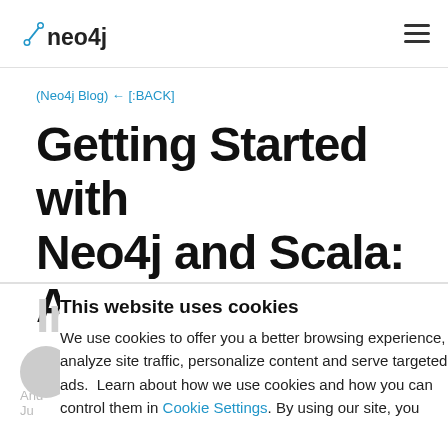neo4j
(Neo4j Blog) ← [:BACK]
Getting Started with Neo4j and Scala: An Introduction
This website uses cookies
We use cookies to offer you a better browsing experience, analyze site traffic, personalize content and serve targeted ads.  Learn about how we use cookies and how you can control them in Cookie Settings. By using our site, you consent to our use of cookies.